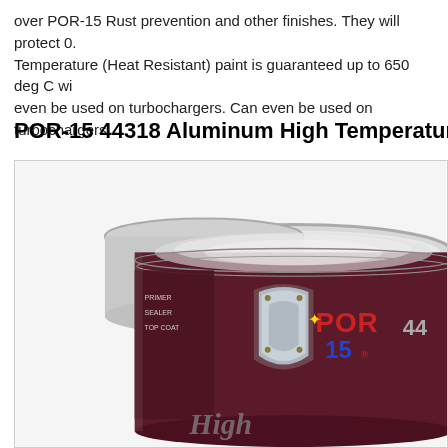over POR-15 Rust prevention and other finishes. They will protect 0. Temperature (Heat Resistant) paint is guaranteed up to 650 deg C wi even be used on turbochargers. Can even be used on turbochargers.
POR-15 44318 Aluminum High Temperature
[Figure (photo): Photo of POR-15 paint cans with the POR-15 shield logo visible on the dark maroon/purple label. The number 44 is partially visible on the can. The can lid and rim are visible at the top.]